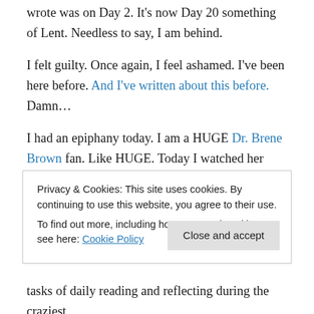wrote was on Day 2. It's now Day 20 something of Lent. Needless to say, I am behind.
I felt guilty. Once again, I feel ashamed. I've been here before. And I've written about this before. Damn…
I had an epiphany today. I am a HUGE Dr. Brene Brown fan. Like HUGE. Today I watched her with Oprah on the series Super Soul Sunday. As I am watching and tweeting and being blown away, I realized that I am continuing with patterns that are not serving me well. While I think I have
Privacy & Cookies: This site uses cookies. By continuing to use this website, you agree to their use.
To find out more, including how to control cookies, see here: Cookie Policy
tasks of daily reading and reflecting during the craziest